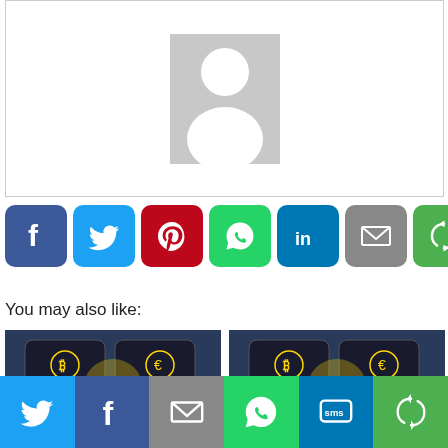[Figure (illustration): Generic user avatar placeholder with gray background and white silhouette person icon inside a bordered box]
[Figure (infographic): Row of 7 social sharing buttons: Facebook (dark blue), Twitter (light blue), Pinterest (red), WhatsApp (green), LinkedIn (blue), Email (gray), Share (green)]
You may also like:
[Figure (photo): Two thumbnail images side by side showing hands holding smartphones with cryptocurrency icons (Bitcoin, Euro, Pound, Dollar, Yen) floating above the screens]
[Figure (infographic): Bottom sticky share bar with 6 buttons: Twitter (light blue), Facebook (dark blue), Email (gray), WhatsApp (green), SMS (blue), Share (green)]